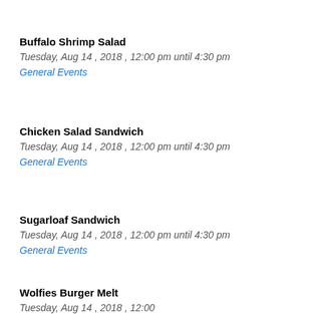Buffalo Shrimp Salad
Tuesday, Aug 14 , 2018 , 12:00 pm until 4:30 pm
General Events
Chicken Salad Sandwich
Tuesday, Aug 14 , 2018 , 12:00 pm until 4:30 pm
General Events
Sugarloaf Sandwich
Tuesday, Aug 14 , 2018 , 12:00 pm until 4:30 pm
General Events
Wolfies Burger Melt
Tuesday, Aug 14 , 2018 , 12:00 am until 4:30